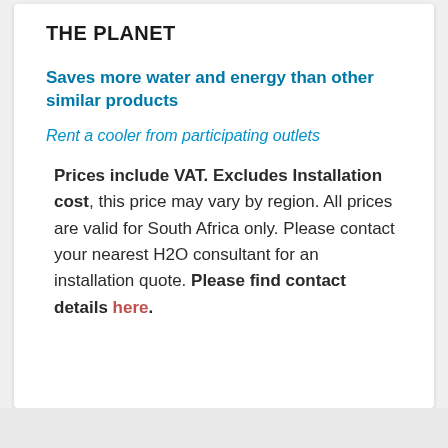THE PLANET
Saves more water and energy than other similar products
Rent a cooler from participating outlets
Prices include VAT. Excludes Installation cost, this price may vary by region. All prices are valid for South Africa only. Please contact your nearest H2O consultant for an installation quote. Please find contact details here.